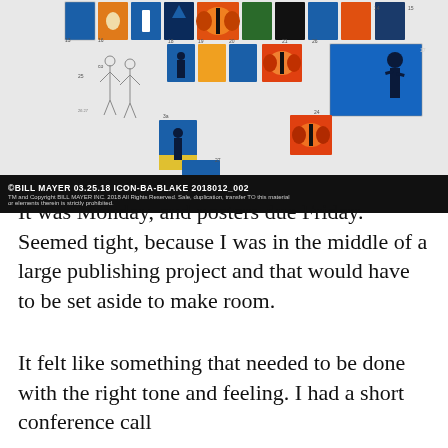[Figure (illustration): A collage/storyboard of illustrated poster thumbnails featuring silhouetted figures, birds, butterflies, and abstract imagery in blue, orange, yellow and other colors, arranged in a grid with scattered sketch drawings. Below the collage is a black copyright bar.]
©BILL MAYER 03.25.18  ICON-BA-BLAKE  2018012_002
TM and Copyright BILL MAYER INC. 2018 All Rights Reserved. Sale, duplication, transfer TO this material or elements therein is strictly prohibited.
It was Monday, and posters due Friday. Seemed tight, because I was in the middle of a large publishing project and that would have to be set aside to make room.
It felt like something that needed to be done with the right tone and feeling. I had a short conference call